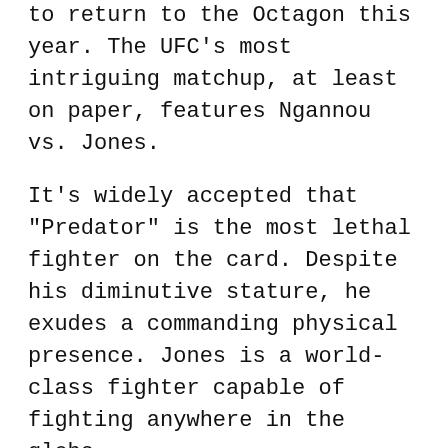to return to the Octagon this year. The UFC's most intriguing matchup, at least on paper, features Ngannou vs. Jones.
It’s widely accepted that “Predator” is the most lethal fighter on the card. Despite his diminutive stature, he exudes a commanding physical presence. Jones is a world-class fighter capable of fighting anywhere in the globe.
For this championship fight to occur in 2022, some events must happen. But, first, Ngannou must successfully defend his belt, and Jones needs to advance to the title bout on his return.